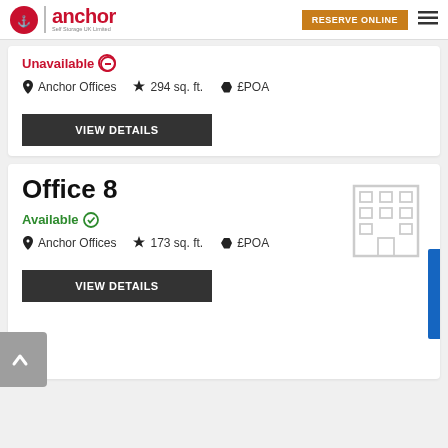anchor Self Storage UK Limited | RESERVE ONLINE
Unavailable
Anchor Offices  294 sq. ft.  £POA
VIEW DETAILS
Office 8
Available
Anchor Offices  173 sq. ft.  £POA
VIEW DETAILS